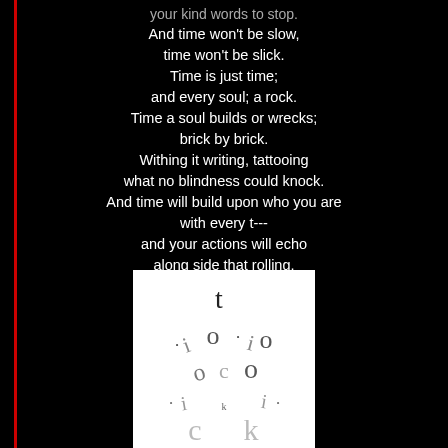your kind words to stop.
And time won't be slow,
time won't be slick.
Time is just time;
and every soul; a rock.
Time a soul builds or wrecks;
brick by brick.
Withing it writing, tattooing
what no blindness could knock.
And time will build upon who you are
with every t---
and your actions will echo
along side that rolling,
ceaseless,
never ending,
ticking t---
[Figure (illustration): White rectangle containing scattered letters spelling 'tick tock' arranged in a circular/scattered pattern: 't' at top, then 'i o i o' in a ring with dots, 'c' and 'o' in middle, then '.i k i.' at bottom row, and 'c' and 'k' partially visible at very bottom]